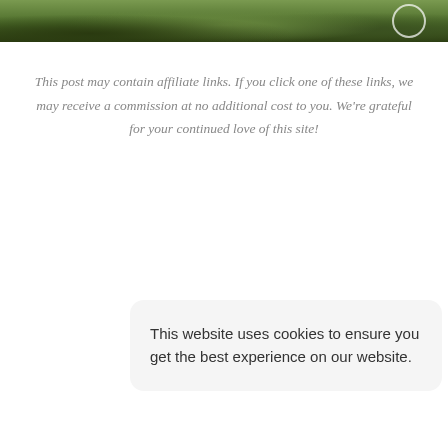[Figure (photo): Partial view of an outdoor grassy/natural scene with dark vegetation, cropped at the top of the page. A circular icon is visible in the upper right corner.]
This post may contain affiliate links. If you click one of these links, we may receive a commission at no additional cost to you. We're grateful for your continued love of this site!
This website uses cookies to ensure you get the best experience on our website.